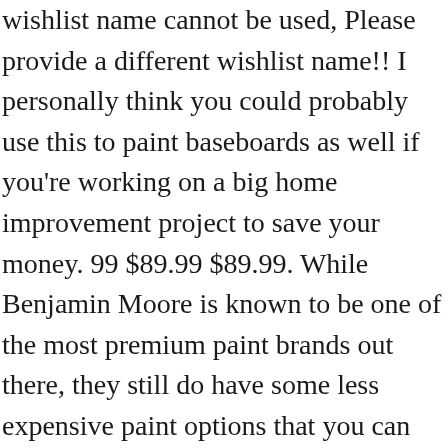wishlist name cannot be used, Please provide a different wishlist name!! I personally think you could probably use this to paint baseboards as well if you're working on a big home improvement project to save your money. 99 $89.99 $89.99. While Benjamin Moore is known to be one of the most premium paint brands out there, they still do have some less expensive paint options that you can choose from if you're set on shopping at Benjamin Moore. Only 1 left in stock - order soon. Recommended amount of paint for this room. Aubuchon hardware benjamin moore muresco